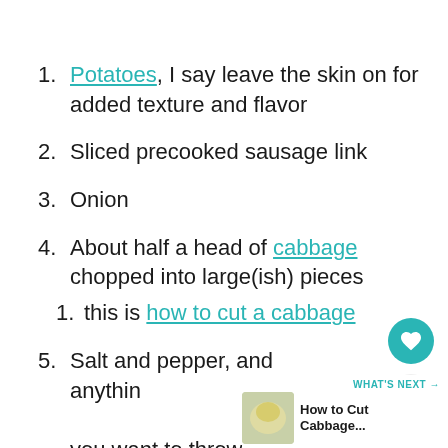Potatoes, I say leave the skin on for added texture and flavor
Sliced precooked sausage link
Onion
About half a head of cabbage chopped into large(ish) pieces
this is how to cut a cabbage
Salt and pepper, and anything you want to throw in there